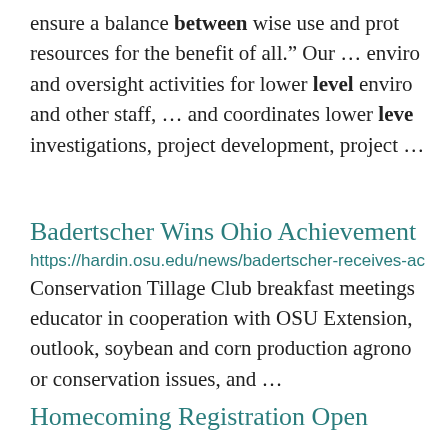ensure a balance between wise use and prot resources for the benefit of all." Our ... enviro and oversight activities for lower level enviro and other staff, ... and coordinates lower leve investigations, project development, project ...
Badertscher Wins Ohio Achievement
https://hardin.osu.edu/news/badertscher-receives-ac Conservation Tillage Club breakfast meetings educator in cooperation with OSU Extension, outlook, soybean and corn production agrono or conservation issues, and ...
Homecoming Registration Open